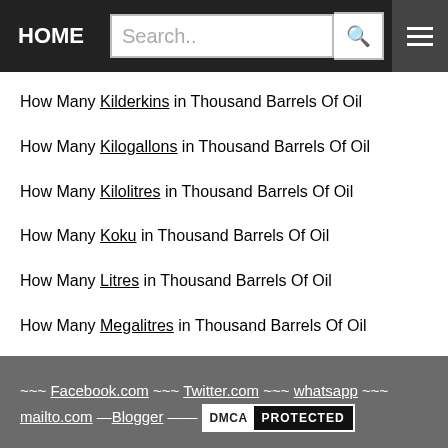HOME | Search..
How Many Kilderkins in Thousand Barrels Of Oil
How Many Kilogallons in Thousand Barrels Of Oil
How Many Kilolitres in Thousand Barrels Of Oil
How Many Koku in Thousand Barrels Of Oil
How Many Litres in Thousand Barrels Of Oil
How Many Megalitres in Thousand Barrels Of Oil
~~~ Facebook.com ~~~ Twitter.com ~~~ whatsapp ~~~ mailto.com —Blogger —— DMCA PROTECTED